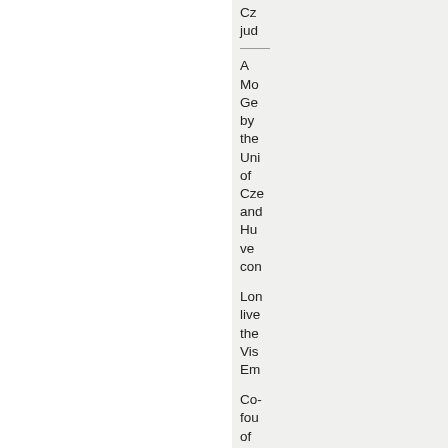Cz... jud...
A Mo... Ge... by the Uni of Cze and Hu... ve... con...
Lon... live the Vis... Em...
Co-fou... of the Ant... con...